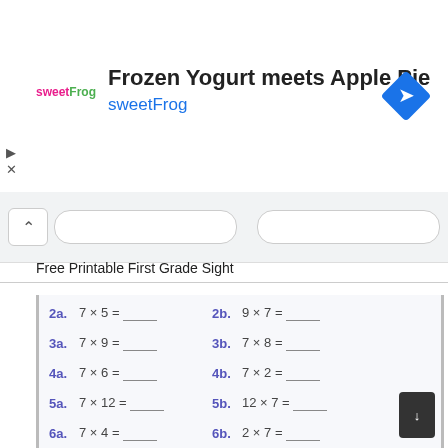[Figure (screenshot): Advertisement banner for sweetFrog frozen yogurt with logo, title text 'Frozen Yogurt meets Apple Pie', subtitle 'sweetFrog', and a blue diamond navigation icon]
Free Printable First Grade Sight
2a.  7 × 5 = ____      2b.  9 × 7 = ____
3a.  7 × 9 = ____      3b.  7 × 8 = ____
4a.  7 × 6 = ____      4b.  7 × 2 = ____
5a.  7 × 12 = ____     5b.  12 × 7 = ____
6a.  7 × 4 = ____      6b.  2 × 7 = ____
7a.  11 × 7 = ____     7b.  7 × 7 = ____
8a.  7 × 11 = ____     8b.  8 × 7 = ____